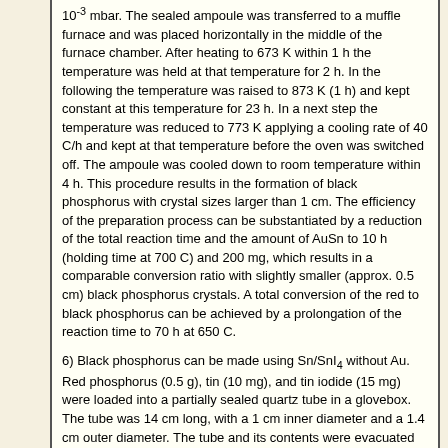10-3 mbar. The sealed ampoule was transferred to a muffle furnace and was placed horizontally in the middle of the furnace chamber. After heating to 673 K within 1 h the temperature was held at that temperature for 2 h. In the following the temperature was raised to 873 K (1 h) and kept constant at this temperature for 23 h. In a next step the temperature was reduced to 773 K applying a cooling rate of 40 C/h and kept at that temperature before the oven was switched off. The ampoule was cooled down to room temperature within 4 h. This procedure results in the formation of black phosphorus with crystal sizes larger than 1 cm. The efficiency of the preparation process can be substantiated by a reduction of the total reaction time and the amount of AuSn to 10 h (holding time at 700 C) and 200 mg, which results in a comparable conversion ratio with slightly smaller (approx. 0.5 cm) black phosphorus crystals. A total conversion of the red to black phosphorus can be achieved by a prolongation of the reaction time to 70 h at 650 C.
6) Black phosphorus can be made using Sn/SnI4 without Au. Red phosphorus (0.5 g), tin (10 mg), and tin iodide (15 mg) were loaded into a partially sealed quartz tube in a glovebox. The tube was 14 cm long, with a 1 cm inner diameter and a 1.4 cm outer diameter. The tube and its contents were evacuated to ca. 4 x 10-3 mbar and sealed with an oxyhydrogen torch while maintaining vacuum within the ampule.We ensured that the ends of the quartz tubes were >0.4 cm and without entrapped gas bubbles; in one experiment, the quartz tube burst because the walls were too thin. (Caution: only perform this synthesis in a well-ventilated area with restricted access as the risk of unanticipated explosions is high because the tube pressure greatly exceeds 1 atm.) The reaction was carried out in a Lindberg Blue three-zone furnace using the temperature profile